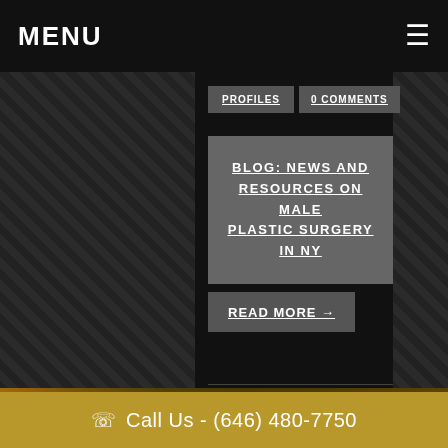MENU
BLOG: NEWS AND RESOURCES ON MALE PLASTIC SURGERY IN NY
READ MORE →
25 JUN 2015
Featured On The Insider List: Top Plastic Surgeons...
Call Us - (646) 480-7750